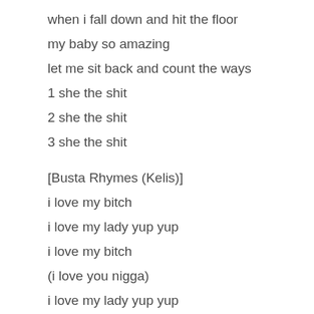when i fall down and hit the floor
my baby so amazing
let me sit back and count the ways
1 she the shit
2 she the shit
3 she the shit
[Busta Rhymes (Kelis)]
i love my bitch
i love my lady yup yup
i love my bitch
(i love you nigga)
i love my lady yup yup
i love my bitch
(i love you nigga)
i love my lady yup yup
i love my bitch